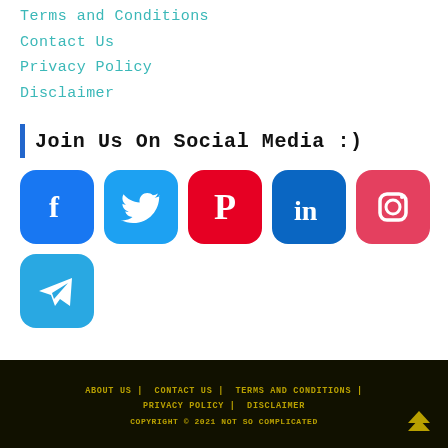Terms and Conditions
Contact Us
Privacy Policy
Disclaimer
| Join Us On Social Media :)
[Figure (illustration): Row of social media icons: Facebook (blue), Twitter (light blue), Pinterest (red), LinkedIn (blue), Instagram (red/pink); below: Telegram (blue)]
ABOUT US | CONTACT US | TERMS AND CONDITIONS | PRIVACY POLICY | DISCLAIMER COPYRIGHT © 2021 NOT SO COMPLICATED